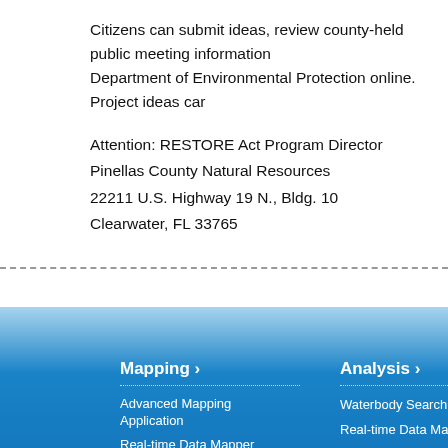Citizens can submit ideas, review county-held public meeting information, and contact the Department of Environmental Protection online. Project ideas can...
Attention: RESTORE Act Program Director
Pinellas County Natural Resources
22211 U.S. Highway 19 N., Bldg. 10
Clearwater, FL 33765
[Figure (other): Dashed horizontal separator line]
[Figure (screenshot): Blue gradient website footer section with three navigation columns: Mapping (Advanced Mapping Application, Real-time Data Mapper, Water Quality Dashboard, Contour Mapping), Analysis (Waterbody Search, Real-time Data Mapper, Data Download, Metadata, Rainfall), and Learn (partially visible column headers and links)]